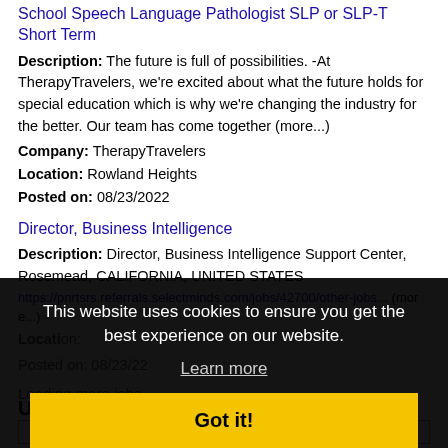School Speech Language Pathologist SLP or SLP-T Short Term
Description: The future is full of possibilities. -At TherapyTravelers, we're excited about what the future holds for special education which is why we're changing the industry for the better. Our team has come together (more...)
Company: TherapyTravelers
Location: Rowland Heights
Posted on: 08/23/2022
Director, Business Intelligence
Description: Director, Business Intelligence Support Center, Rosemead, CALIFORNIA, UNITED STATES
https://pnrtsrs.referrals.selectminds.com/jobs/42700/other-jobs... (more...)
Loading more jobs
This website uses cookies to ensure you get the best experience on our website.
Learn more
Got it!
Username